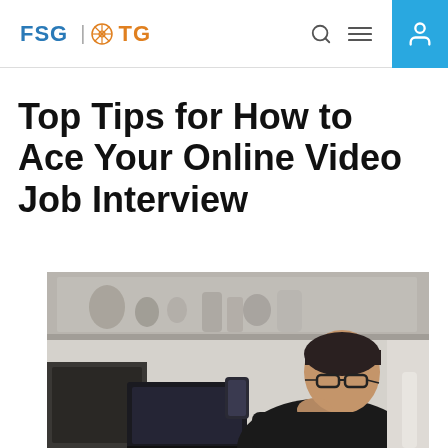FSG | ✳TG
Top Tips for How to Ace Your Online Video Job Interview
[Figure (photo): A man wearing glasses and a dark sweater sits at a desk, viewed from the side, using a laptop with a smartphone propped nearby, kitchen shelving visible in the blurred background.]